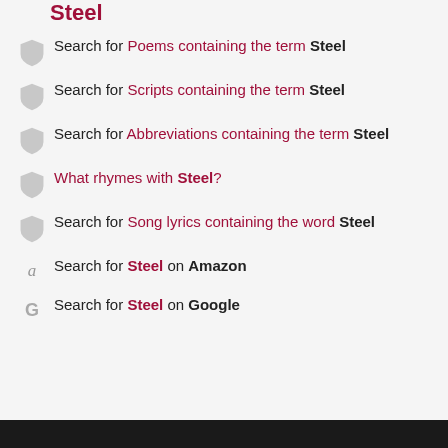Steel
Search for Poems containing the term Steel
Search for Scripts containing the term Steel
Search for Abbreviations containing the term Steel
What rhymes with Steel?
Search for Song lyrics containing the word Steel
Search for Steel on Amazon
Search for Steel on Google